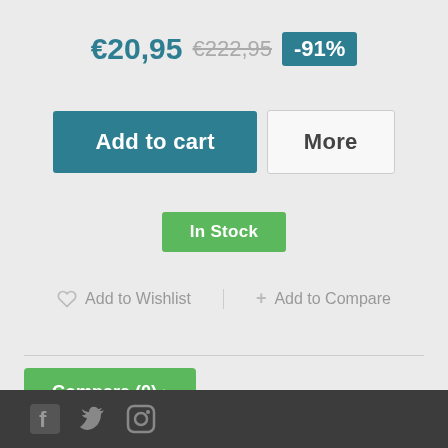€20,95  €222,95  -91%
Add to cart
More
In Stock
♡ Add to Wishlist
+ Add to Compare
Compare (0) ›
Showing 1 - 1 of 1 item
Social media icons: Facebook, Twitter, Instagram